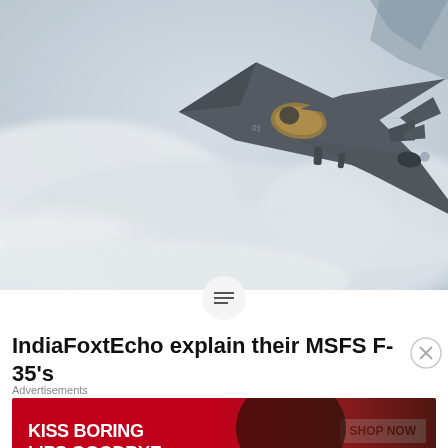[Figure (photo): F-35 stealth fighter jet flying above clouds, viewed from above-front angle, dark grey color scheme]
IndiaFoxtEcho explain their MSFS F-35's
Advertisements
[Figure (other): Advertisement banner: KISS BORING LIPS GOODBYE — SHOP NOW — macys]